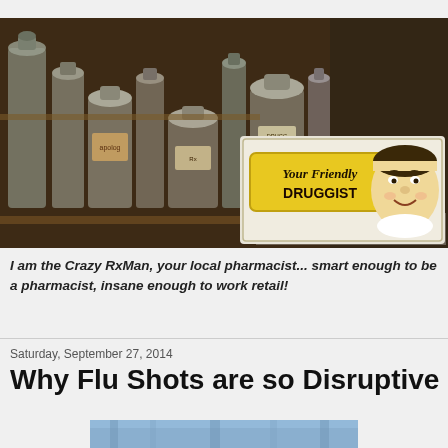[Figure (photo): Composite header image: left side shows antique glass pharmacy bottles on wooden shelves in sepia/brown tones; right side shows a vintage 'Your Friendly DRUGGIST' illustration with a smiling pharmacist character in retro comic style on yellow sign background.]
I am the Crazy RxMan, your local pharmacist... smart enough to be a pharmacist, insane enough to work retail!
Saturday, September 27, 2014
Why Flu Shots are so Disruptive
[Figure (photo): Partial bottom image, appears to show blue/gray tones, likely a medical or pharmacy related image cropped at the bottom of the page.]